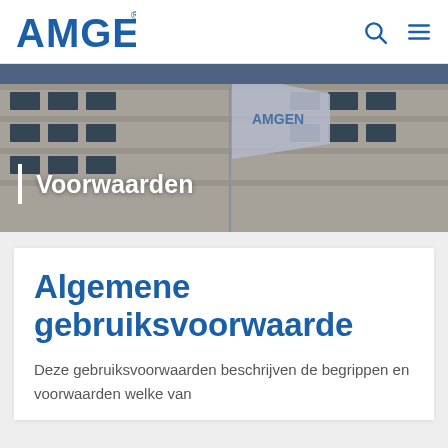[Figure (logo): Amgen logo in blue with registered trademark symbol]
[Figure (photo): Amgen corporate building exterior with Amgen flag flying in foreground, blue sky background]
Voorwaarden
Algemene gebruiksvoorwaarde
Deze gebruiksvoorwaarden beschrijven de begrippen en voorwaarden welke van